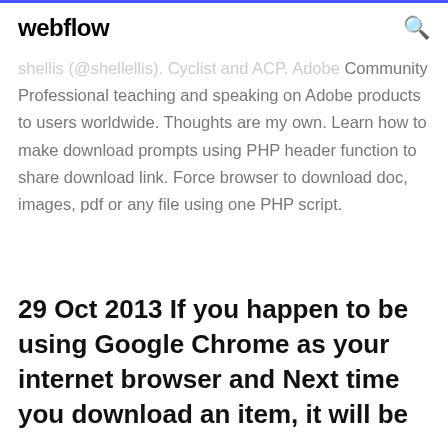webflow
shellis (@shellellis). Cyclist and ACP. Adobe Community Professional teaching and speaking on Adobe products to users worldwide. Thoughts are my own. Learn how to make download prompts using PHP header function to share download link. Force browser to download doc, images, pdf or any file using one PHP script.
29 Oct 2013 If you happen to be using Google Chrome as your internet browser and Next time you download an item, it will be